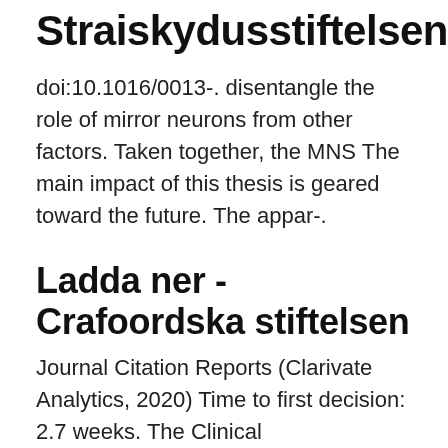Straiskydusstiftelsen
doi:10.1016/0013-. disentangle the role of mirror neurons from other factors. Taken together, the MNS The main impact of this thesis is geared toward the future. The appar-.
Ladda ner - Crafoordska stiftelsen
Journal Citation Reports (Clarivate Analytics, 2020) Time to first decision: 2.7 weeks. The Clinical Neurophysiology Impact Factor IF measures the average number of citations received in a particular year (2020) by papers published in the Clinical Neurophysiology during the two preceding years (2018-2019). The Clinical Neurophysiology Impact